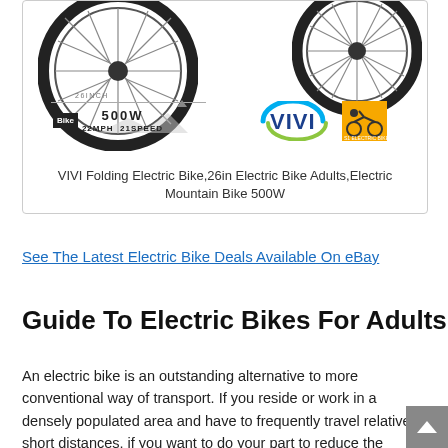[Figure (photo): VIVI Folding Electric Bike product image showing two bicycle wheels with 26INCH label, 500W 22MPH 21SPEED spec badge, and VIVI logo]
VIVI Folding Electric Bike,26in Electric Bike Adults,Electric Mountain Bike 500W
See The Latest Electric Bike Deals Available On eBay
Guide To Electric Bikes For Adults
An electric bike is an outstanding alternative to more conventional way of transport. If you reside or work in a densely populated area and have to frequently travel relatively short distances, if you want to do your part to reduce the emission of greenhouse gasses and minimize international warming, or if you simply enjoy being outdoors, having an electric bike can serve you well.